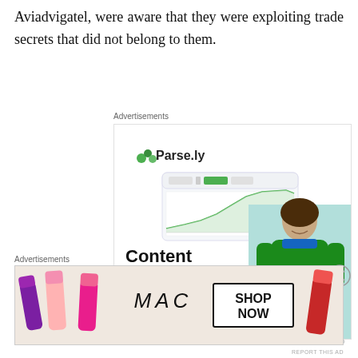Aviadvigatel, were aware that they were exploiting trade secrets that did not belong to them.
[Figure (screenshot): Parse.ly advertisement banner showing 'Content Analytics Made Easy' with a woman in a green sweater and a dashboard screenshot. Includes a 'Get A Demo →' green button.]
The private information on Piaskilv about the t
[Figure (photo): MAC cosmetics advertisement showing lipsticks in purple, peach, pink colors alongside MAC logo and 'SHOP NOW' button.]